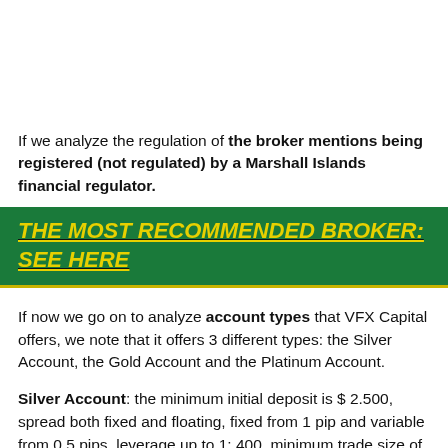If we analyze the regulation of the broker mentions being registered (not regulated) by a Marshall Islands financial regulator.
THE MOST RECOMMENDED BROKER: SEE HERE
If now we go on to analyze account types that VFX Capital offers, we note that it offers 3 different types: the Silver Account, the Gold Account and the Platinum Account.
Silver Account: the minimum initial deposit is $ 2.500, spread both fixed and floating, fixed from 1 pip and variable from 0.5 pips, leverage up to 1: 400, minimum trade size of 0,1 lot, withdrawals with delay of 3 to 5 days.
This ...ount: the minimum initial deposit is